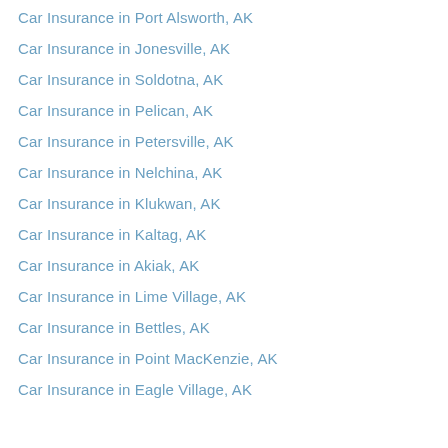Car Insurance in Port Alsworth, AK
Car Insurance in Jonesville, AK
Car Insurance in Soldotna, AK
Car Insurance in Pelican, AK
Car Insurance in Petersville, AK
Car Insurance in Nelchina, AK
Car Insurance in Klukwan, AK
Car Insurance in Kaltag, AK
Car Insurance in Akiak, AK
Car Insurance in Lime Village, AK
Car Insurance in Bettles, AK
Car Insurance in Point MacKenzie, AK
Car Insurance in Eagle Village, AK